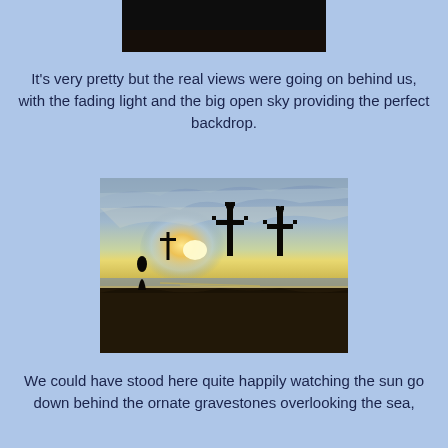[Figure (photo): Dark photograph, partially cropped at top of page, appears to show a dark interior or night scene]
It's very pretty but the real views were going on behind us, with the fading light and the big open sky providing the perfect backdrop.
[Figure (photo): Sunset photograph showing silhouettes of ornate crosses in a graveyard against a dramatic cloudy sky with the sun setting over the sea]
We could have stood here quite happily watching the sun go down behind the ornate gravestones overlooking the sea,